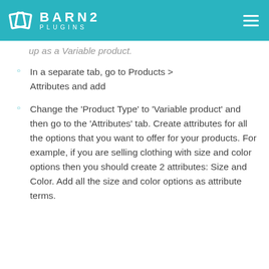BARN2 PLUGINS
up as a Variable product.
In a separate tab, go to Products > Attributes and add
Change the 'Product Type' to 'Variable product' and then go to the 'Attributes' tab. Create attributes for all the options that you want to offer for your products. For example, if you are selling clothing with size and color options then you should create 2 attributes: Size and Color. Add all the size and color options as attribute terms.